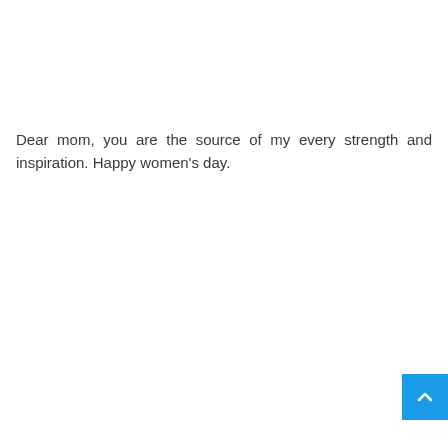Dear mom, you are the source of my every strength and inspiration. Happy women's day.
[Figure (other): Small blue square button with an upward-pointing chevron/caret arrow icon in white, positioned at the bottom-right corner of the page.]